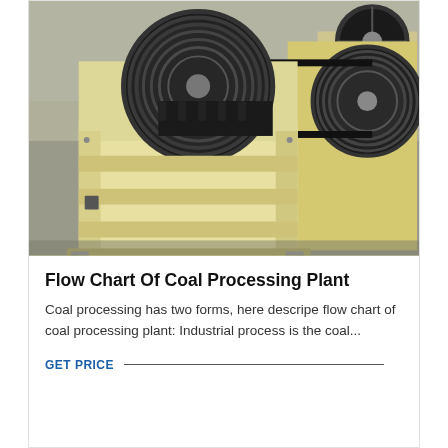[Figure (photo): Industrial jaw crusher machine with large black pulley wheels and cream/yellow painted steel frame, shown in a warehouse or factory setting. Multiple crusher units visible in the background.]
Flow Chart Of Coal Processing Plant
Coal processing has two forms, here descripe flow chart of coal processing plant: Industrial process is the coal...
GET PRICE